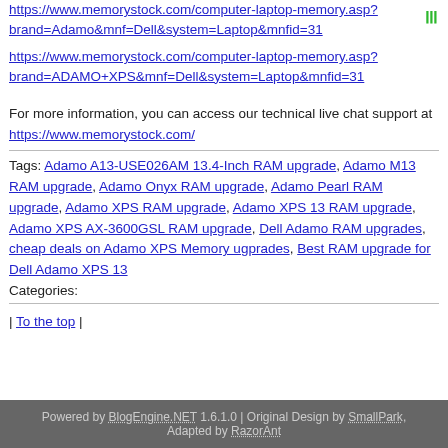https://www.memorystock.com/computer-laptop-memory.asp?brand=Adamo&mnf=Dell&system=Laptop&mnfid=31
https://www.memorystock.com/computer-laptop-memory.asp?brand=ADAMO+XPS&mnf=Dell&system=Laptop&mnfid=31
For more information, you can access our technical live chat support at https://www.memorystock.com/
Tags: Adamo A13-USE026AM 13.4-Inch RAM upgrade, Adamo M13 RAM upgrade, Adamo Onyx RAM upgrade, Adamo Pearl RAM upgrade, Adamo XPS RAM upgrade, Adamo XPS 13 RAM upgrade, Adamo XPS AX-3600GSL RAM upgrade, Dell Adamo RAM upgrades, cheap deals on Adamo XPS Memory ugprades, Best RAM upgrade for Dell Adamo XPS 13
Categories:
| To the top |
Powered by BlogEngine.NET 1.6.1.0 | Original Design by SmallPark, Adapted by RazorAnt